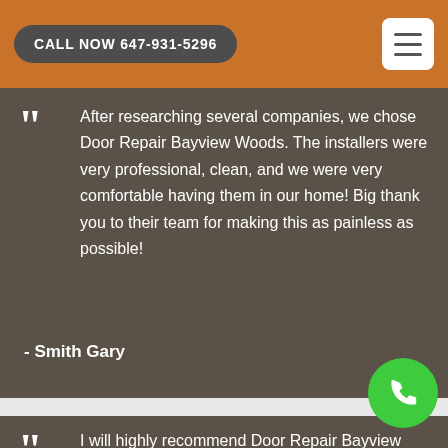CALL NOW 647-931-5296
After researching several companies, we chose Door Repair Bayview Woods. The installers were very professional, clean, and we were very comfortable having them in our home! Big thank you to their team for making this as painless as possible!
- Smith Gary
I will highly recommend Door Repair Bayview Woods. Entire team who visit us was trustworthy and followed through until